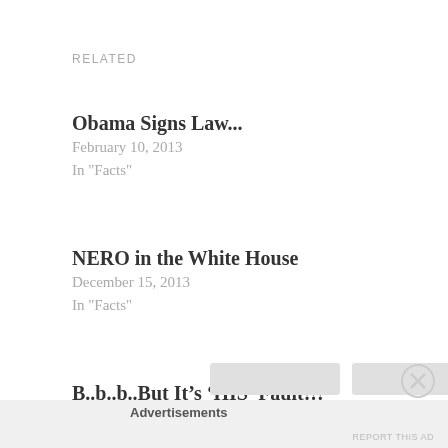RELATED
Obama Signs Law...
February 10, 2013
In "Facts"
NERO in the White House
December 15, 2013
In "Facts"
B..b..b..But It’s ‘HIS’ Fault!!!
April 12, 2013
In "Facts"
Advertisements
REPORT THIS AD